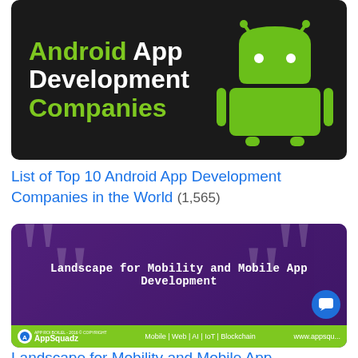[Figure (illustration): Dark-background banner image showing Android robot mascot with text: Android App Development Companies in green and white]
List of Top 10 Android App Development Companies in the World (1,565)
[Figure (photo): Purple-tinted image with text 'Landscape for Mobility and Mobile App Development' and AppSquadz branding bar at bottom showing Mobile | Web | AI | IoT | Blockchain and www.appsquadz.com]
Landscape for Mobility and Mobile App